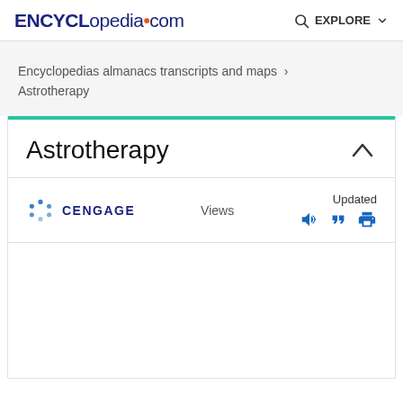ENCYCLopedia.com  EXPLORE
Encyclopedias almanacs transcripts and maps > Astrotherapy
Astrotherapy
CENGAGE  Views  Updated